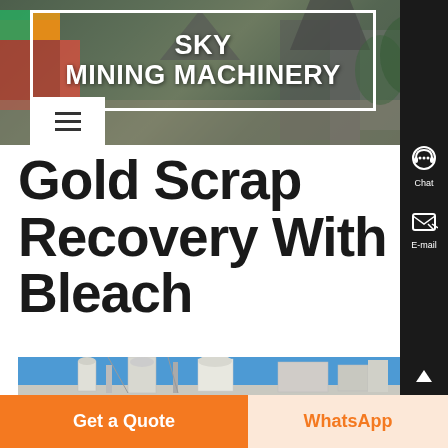SKY MINING MACHINERY
Gold Scrap Recovery With Bleach
[Figure (photo): Industrial mining/processing facility with blue sky and large equipment, silos, and dust collection units]
Get a Quote
WhatsApp